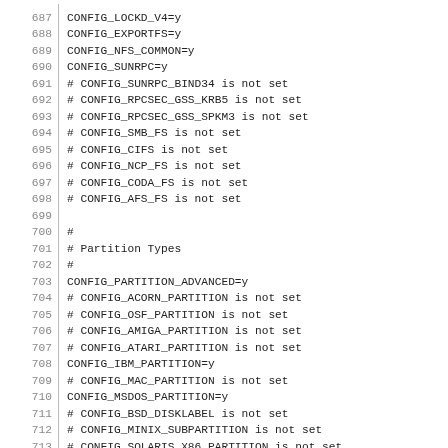687  CONFIG_LOCKD_V4=y
688  CONFIG_EXPORTFS=y
689  CONFIG_NFS_COMMON=y
690  CONFIG_SUNRPC=y
691  # CONFIG_SUNRPC_BIND34 is not set
692  # CONFIG_RPCSEC_GSS_KRB5 is not set
693  # CONFIG_RPCSEC_GSS_SPKM3 is not set
694  # CONFIG_SMB_FS is not set
695  # CONFIG_CIFS is not set
696  # CONFIG_NCP_FS is not set
697  # CONFIG_CODA_FS is not set
698  # CONFIG_AFS_FS is not set
699  
700  #
701  # Partition Types
702  #
703  CONFIG_PARTITION_ADVANCED=y
704  # CONFIG_ACORN_PARTITION is not set
705  # CONFIG_OSF_PARTITION is not set
706  # CONFIG_AMIGA_PARTITION is not set
707  # CONFIG_ATARI_PARTITION is not set
708  CONFIG_IBM_PARTITION=y
709  # CONFIG_MAC_PARTITION is not set
710  CONFIG_MSDOS_PARTITION=y
711  # CONFIG_BSD_DISKLABEL is not set
712  # CONFIG_MINIX_SUBPARTITION is not set
713  # CONFIG_SOLARIS_X86_PARTITION is not set